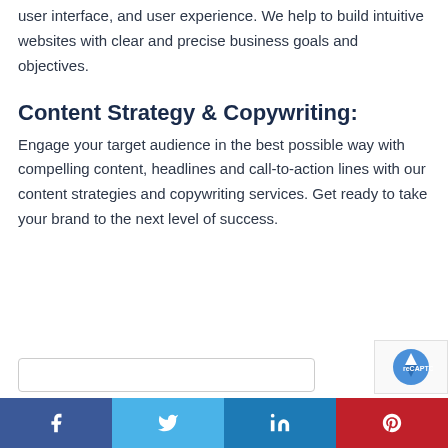website to understand the structure of web pages, user interface, and user experience. We help to build intuitive websites with clear and precise business goals and objectives.
Content Strategy & Copywriting:
Engage your target audience in the best possible way with compelling content, headlines and call-to-action lines with our content strategies and copywriting services. Get ready to take your brand to the next level of success.